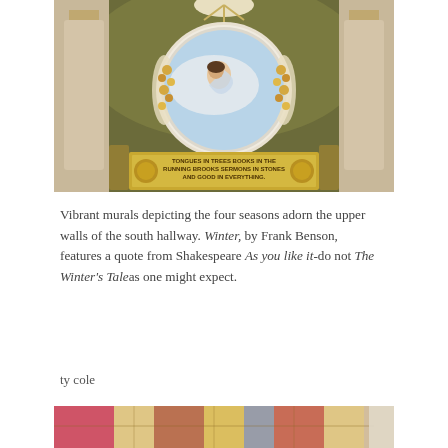[Figure (photo): Interior architectural photo of a decorative mural featuring a circular medallion painting of a female figure (Winter) surrounded by ornate carved fruit and foliage garlands, set within a dark olive-green arched wall. Below the medallion is a gilt placard inscribed with a Shakespeare quote: 'TONGUES IN TREES BOOKS IN THE RUNNING BROOKS SERMONS IN STONES AND GOOD IN EVERYTHING.' Flanking columns and gilded architectural details are visible.]
Vibrant murals depicting the four seasons adorn the upper walls of the south hallway. Winter, by Frank Benson, features a quote from Shakespeare As you like it-do not The Winter's Tale as one might expect.
ty cole
[Figure (photo): Partial view of an ornate mosaic or painted floor/ceiling with colorful geometric and floral patterns in reds, golds, and blues. A vertical architectural column or pilaster is partially visible on the right.]